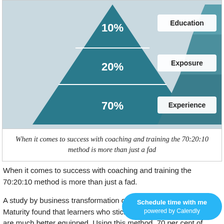[Figure (infographic): A 70:20:10 learning pyramid infographic. Left: a dark teal triangle divided into three horizontal sections labeled 10% (top), 20% (middle), 70% (bottom) in white bold text. Right: a lighter teal triangle with three labeled tabs pointing left: Education (top), Exposure (middle), Experience (bottom). Background is light blue-grey.]
When it comes to success with coaching and training the 70:20:10 method is more than just a fad
When it comes to success with coaching and training the 70:20:10 method is more than just a fad.
A study by business transformation consultancy Towards Maturity found that learners who stick to using the methodology are much better equipped. Using this method, 70 per cent of knowledge comes from on the job activities, 20 per cent is from observing others and only 10 per cent comes from formal training cl...
The research reveals that staff following this methodology